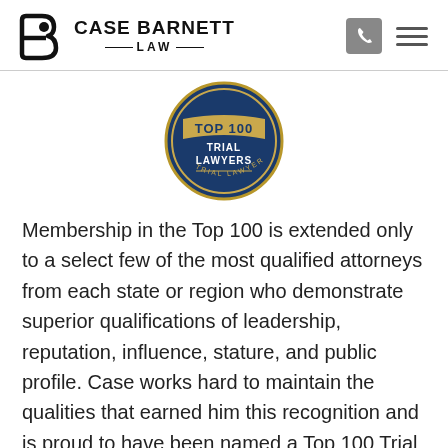Case Barnett Law
[Figure (logo): Top 100 Trial Lawyers circular badge/seal in blue and gold]
Membership in the Top 100 is extended only to a select few of the most qualified attorneys from each state or region who demonstrate superior qualifications of leadership, reputation, influence, stature, and public profile. Case works hard to maintain the qualities that earned him this recognition and is proud to have been named a Top 100 Trial Lawyer.